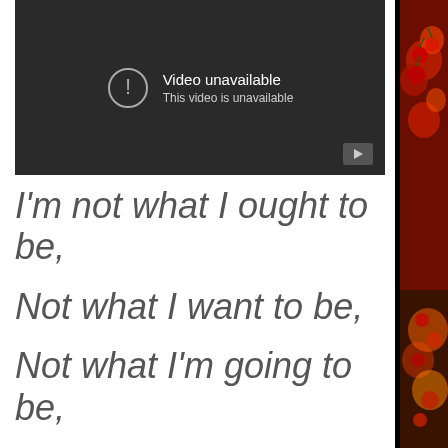[Figure (screenshot): A dark video player showing 'Video unavailable / This video is unavailable' with an exclamation mark icon in a circle and a play button in the bottom right corner.]
I'm not what I ought to be,
Not what I want to be,
Not what I'm going to be,